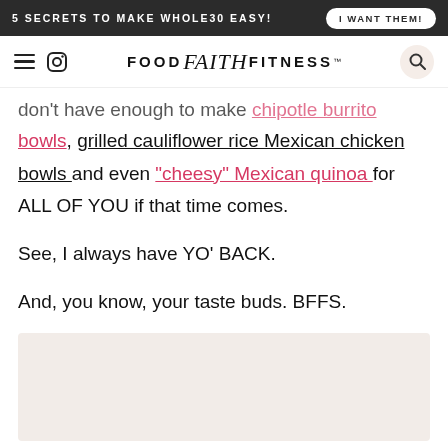5 SECRETS TO MAKE WHOLE30 EASY! | I WANT THEM!
FOOD faith FITNESS™
don't have enough to make chipotle burrito bowls, grilled cauliflower rice Mexican chicken bowls and even “cheesy” Mexican quinoa for ALL OF YOU if that time comes.
See, I always have YO’ BACK.
And, you know, your taste buds. BFFS.
[Figure (photo): Bottom portion of page showing a light pinkish-beige image area (partially visible)]